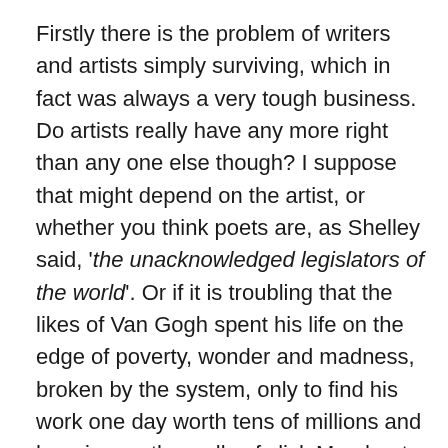Firstly there is the problem of writers and artists simply surviving, which in fact was always a very tough business. Do artists really have any more right than any one else though? I suppose that might depend on the artist, or whether you think poets are, as Shelley said, 'the unacknowledged legislators of the world'. Or if it is troubling that the likes of Van Gogh spent his life on the edge of poverty, wonder and madness, broken by the system, only to find his work one day worth tens of millions and hanging on the walls of slick Merchant banks. History and especially the history of the art market is too full of such ironies to dwell on it too long. Less than 5% of authors reach any kind of position where they can really live off their work alone, yet even back in the 16th Century, when the very idea of authorial copyright began to emerge with the new printing technology, booksellers, poets and